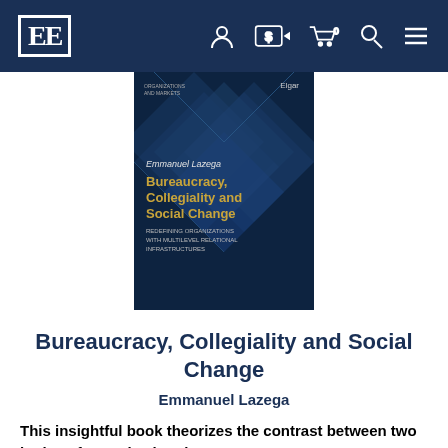EE [logo] — navigation header with account, currency, cart, search, menu icons
[Figure (illustration): Book cover of 'Bureaucracy, Collegiality and Social Change' by Emmanuel Lazega, showing a dark blue geometric diamond pattern design with gold and white title text, published by Elgar]
Bureaucracy, Collegiality and Social Change
Emmanuel Lazega
This insightful book theorizes the contrast between two logics of organization: bureaucracy